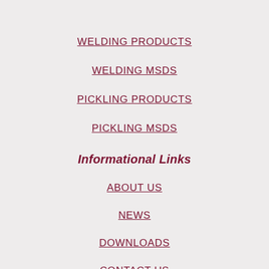WELDING PRODUCTS
WELDING MSDS
PICKLING PRODUCTS
PICKLING MSDS
Informational Links
ABOUT US
NEWS
DOWNLOADS
CONTACT US